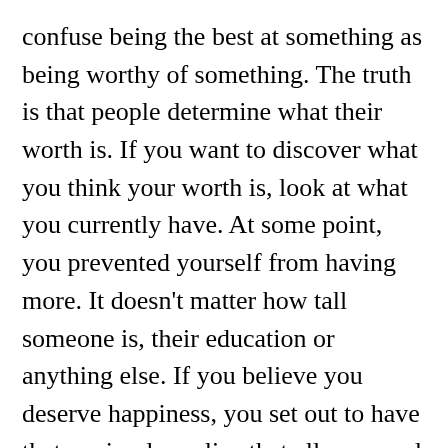confuse being the best at something as being worthy of something. The truth is that people determine what their worth is. If you want to discover what you think your worth is, look at what you currently have. At some point, you prevented yourself from having more. It doesn't matter how tall someone is, their education or anything else. If you believe you deserve happiness, you set out to have that or simply realize that all you need to do is let go of sadness.
Instead of asking yourself why you deserve something, ask yourself why you don't. There is nothing superficial that can make you deserve